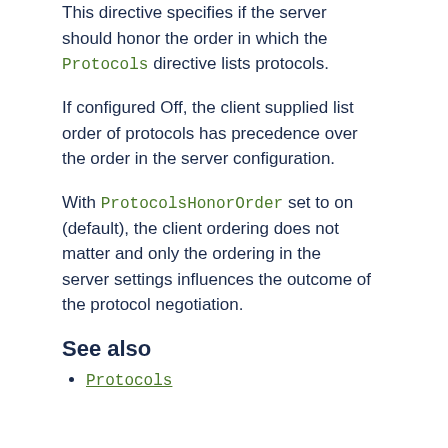This directive specifies if the server should honor the order in which the Protocols directive lists protocols.
If configured Off, the client supplied list order of protocols has precedence over the order in the server configuration.
With ProtocolsHonorOrder set to on (default), the client ordering does not matter and only the ordering in the server settings influences the outcome of the protocol negotiation.
See also
Protocols